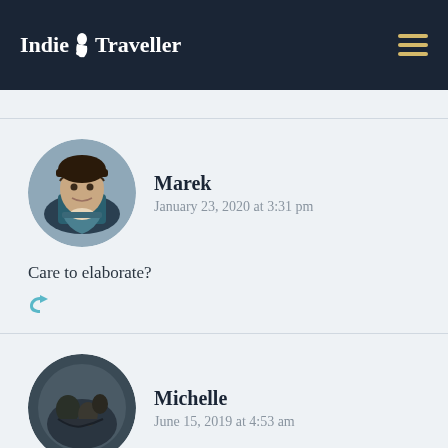Indie Traveller
Marek
January 23, 2020 at 3:31 pm
Care to elaborate?
Michelle
June 15, 2019 at 4:53 am